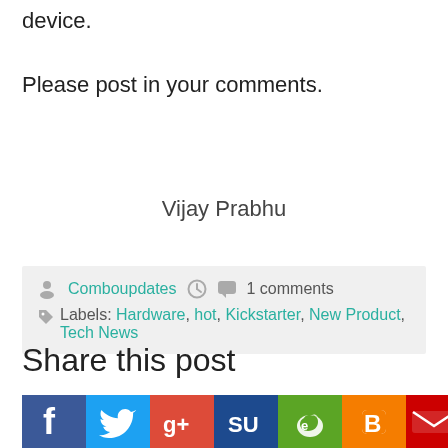device.
Please post in your comments.
Vijay Prabhu
Comboupdates  1 comments
Labels: Hardware, hot, Kickstarter, New Product, Tech News
Share this post
[Figure (other): Row of social media share icons: Facebook, Twitter, Google+, StumbleUpon, Evernote, Blogger, Email]